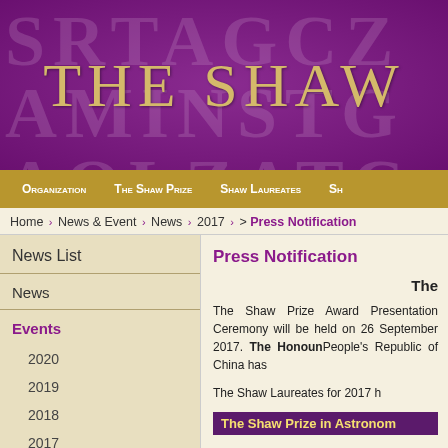[Figure (illustration): Purple banner with decorative letter watermarks and gold text reading THE SHAW]
ORGANIZATION   THE SHAW PRIZE   SHAW LAUREATES   SH...
Home › News & Event › News › 2017 › > Press Notification
News List
News
Events
2020
2019
2018
2017
2016
2015
Press Notification
The
The Shaw Prize Award Presentation Ceremony will be held on 26 September 2017. The Honourable... People's Republic of China has...
The Shaw Laureates for 2017 h...
The Shaw Prize in Astronom...